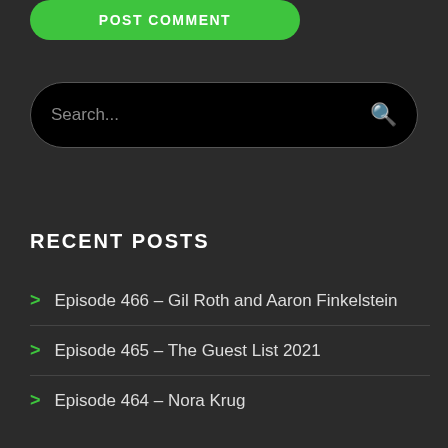POST COMMENT
Search...
RECENT POSTS
Episode 466 – Gil Roth and Aaron Finkelstein
Episode 465 – The Guest List 2021
Episode 464 – Nora Krug